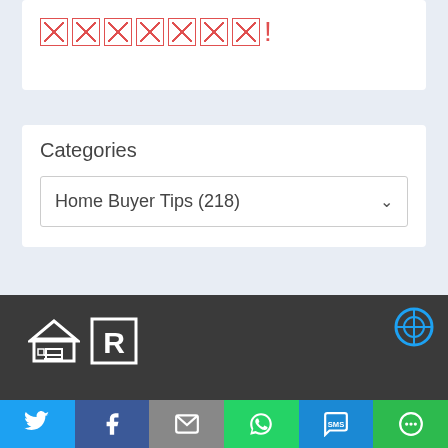[Figure (other): Broken image icons (red crossed boxes) followed by exclamation mark]
Categories
Home Buyer Tips  (218)
[Figure (logo): Equal Housing Opportunity logo and Realtor R logo in white on dark background]
Social sharing bar: Twitter, Facebook, Email, WhatsApp, SMS, Share